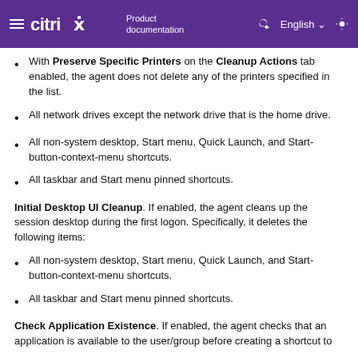citrix Product documentation | English
With Preserve Specific Printers on the Cleanup Actions tab enabled, the agent does not delete any of the printers specified in the list.
All network drives except the network drive that is the home drive.
All non-system desktop, Start menu, Quick Launch, and Start-button-context-menu shortcuts.
All taskbar and Start menu pinned shortcuts.
Initial Desktop UI Cleanup. If enabled, the agent cleans up the session desktop during the first logon. Specifically, it deletes the following items:
All non-system desktop, Start menu, Quick Launch, and Start-button-context-menu shortcuts.
All taskbar and Start menu pinned shortcuts.
Check Application Existence. If enabled, the agent checks that an application is available to the user/group before creating a shortcut to